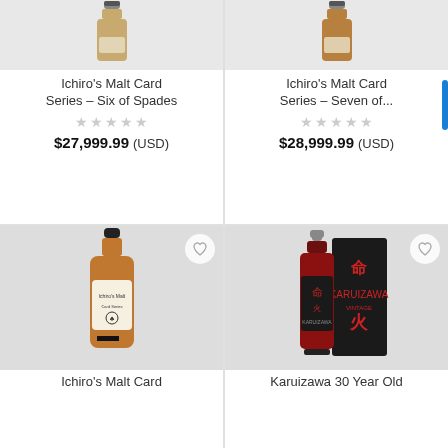[Figure (photo): Bottle of Ichiro's Malt Card Series Six of Spades whisky on grey background]
Ichiro's Malt Card Series – Six of Spades
★★★★★ (empty stars)
$27,999.99 (USD)
[Figure (photo): Bottle of Ichiro's Malt Card Series Seven of... whisky on grey background]
Ichiro's Malt Card Series – Seven of...
★★★★★ (empty stars)
$28,999.99 (USD)
[Figure (photo): Bottle of Ichiro's Malt Card whisky, amber liquid, decorative label]
Ichiro's Malt Card
[Figure (photo): Karuizawa 30 Year Old whisky bottle with black box packaging featuring red Japanese kanji characters]
Karuizawa 30 Year Old